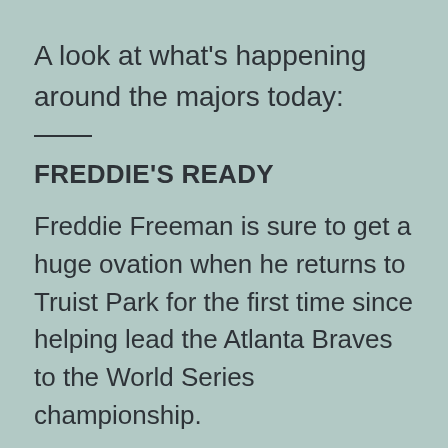A look at what’s happening around the majors today:
FREDDIE’S READY
Freddie Freeman is sure to get a huge ovation when he returns to Truist Park for the first time since helping lead the Atlanta Braves to the World Series championship.
Now with the Los Angeles Dodgers, the star first baseman and the NL West leaders open a